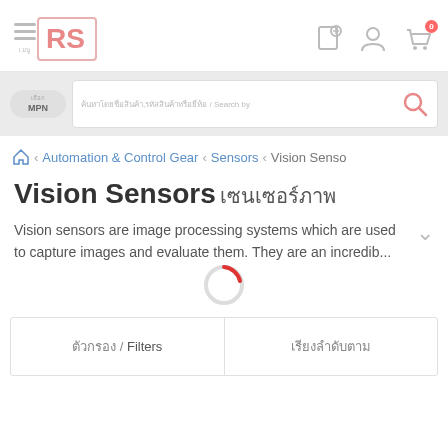[Figure (screenshot): RS Components website navigation header with hamburger menu, RS logo in pink/red, and icons for location/scan, user account, and shopping cart with badge showing 0]
[Figure (screenshot): Search bar area with MPN toggle button and text input showing Thai placeholder text and Search by / with pink search icon]
Automation & Control Gear / Sensors / Vision Senso
Vision Sensors (Thai characters)
Vision sensors are image processing systems which are used to capture images and evaluate them. They are an incredib...
[Figure (screenshot): Loading spinner (circular progress indicator with red arc)]
(Thai) / Filters | (Thai sort options)